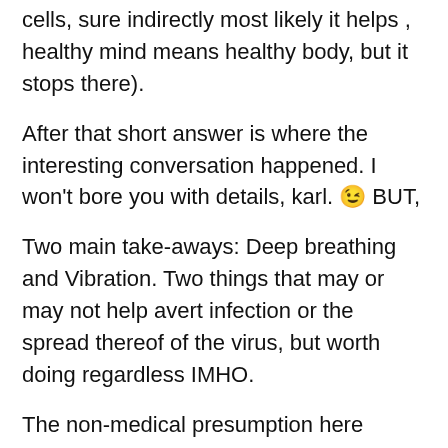cells, sure indirectly most likely it helps , healthy mind means healthy body, but it stops there).
After that short answer is where the interesting conversation happened. I won't bore you with details, karl. 😉 BUT,
Two main take-aways: Deep breathing and Vibration. Two things that may or may not help avert infection or the spread thereof of the virus, but worth doing regardless IMHO.
The non-medical presumption here based on everyones Google-based knowledge of the virus is that, unlike other virus that infect the lungs, this particular coronavirus opens shop in your lower lungs. Where it multiplies.